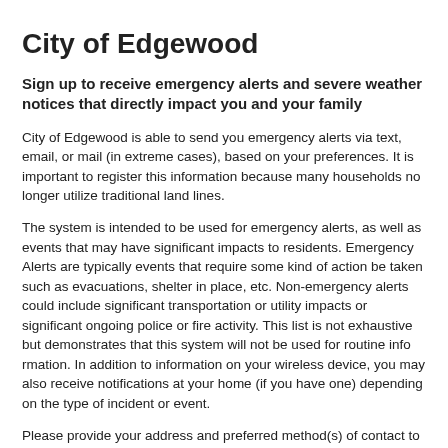City of Edgewood
Sign up to receive emergency alerts and severe weather notices that directly impact you and your family
City of Edgewood is able to send you emergency alerts via text, email, or mail (in extreme cases), based on your preferences. It is important to register this information because many households no longer utilize traditional land lines.
The system is intended to be used for emergency alerts, as well as events that may have significant impacts to residents. Emergency Alerts are typically events that require some kind of action be taken such as evacuations, shelter in place, etc. Non-emergency alerts could include significant transportation or utility impacts or significant ongoing police or fire activity. This list is not exhaustive but demonstrates that this system will not be used for routine information. In addition to information on your wireless device, you may also receive notifications at your home (if you have one) depending on the type of incident or event.
Please provide your address and preferred method(s) of contact to allow for tailoring so you do not receive alerts that don’t pertain to you.
These alerts are provided free of charge, however standard text messaging charges may apply.